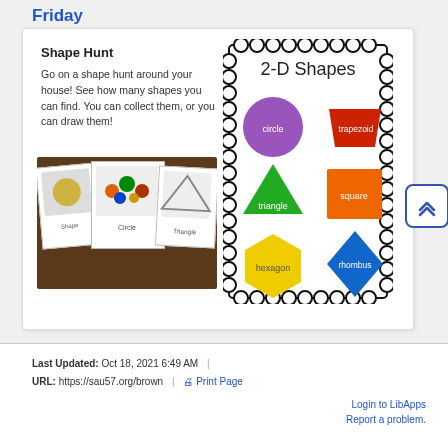Friday
Shape Hunt
Go on a shape hunt around your house!  See how many shapes you can find.  You can collect them, or you can draw them!
[Figure (photo): Photo of shape hunt cards laid out on a wooden table, including cards labeled Shape, Circle, and Triangle with small objects on them.]
[Figure (illustration): 2-D Shapes reference card with scalloped border showing: circle (purple), trapezoid (red), triangle (green), square (orange), hexagon (yellow), rhombus (blue)]
Last Updated: Oct 18, 2021 6:49 AM | URL: https://sau57.org/brown | Print Page
Login to LibApps
Report a problem.